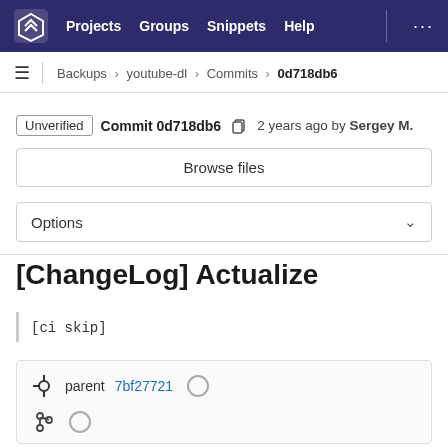Projects  Groups  Snippets  Help  ...
Backups > youtube-dl > Commits > 0d718db6
Unverified  Commit 0d718db6  2 years ago by Sergey M.
Browse files
Options
[ChangeLog] Actualize
[ci skip]
parent 7bf27721